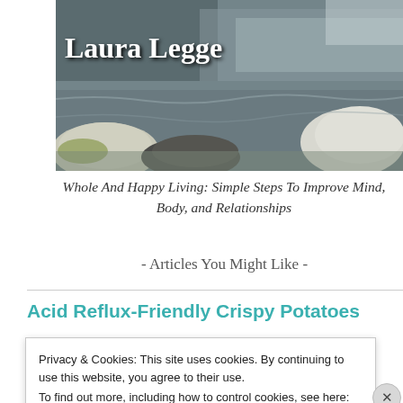[Figure (photo): Header photo of rocks and water with 'Laura Legge' text overlay in white bold serif font]
Whole And Happy Living: Simple Steps To Improve Mind, Body, and Relationships
- Articles You Might Like -
Acid Reflux-Friendly Crispy Potatoes
Privacy & Cookies: This site uses cookies. By continuing to use this website, you agree to their use.
To find out more, including how to control cookies, see here:
Cookie Policy
Close and accept